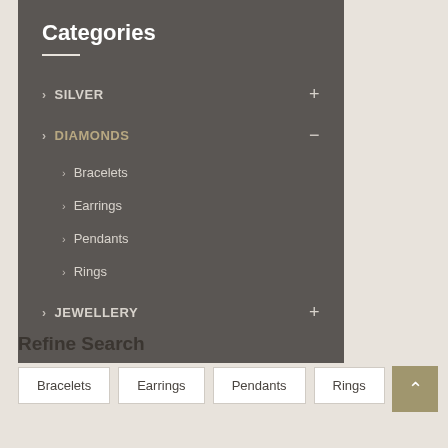Categories
> SILVER +
> DIAMONDS -
> Bracelets
> Earrings
> Pendants
> Rings
> JEWELLERY +
Refine Search
Bracelets
Earrings
Pendants
Rings